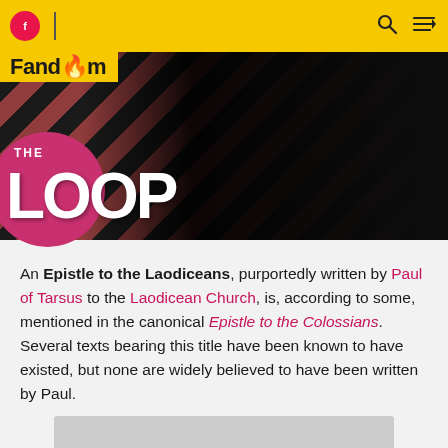[Figure (screenshot): Fandom The Loop website header with yellow navigation bar, Fandom logo, and dark hero banner with THE LOOP branding over diagonal stripe pattern]
An Epistle to the Laodiceans, purportedly written by Paul of Tarsus to the Laodicean Church, is, according to some, mentioned in the canonical Epistle to the Colossians. Several texts bearing this title have been known to have existed, but none are widely believed to have been written by Paul.
[Figure (other): Gray placeholder rectangle at bottom of page]